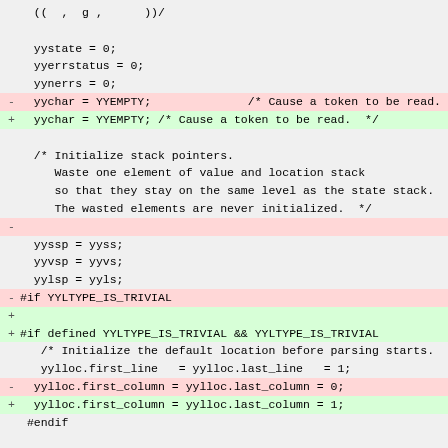((  ,  g ,      ))/
yystate = 0;
yyerrstatus = 0;
yynerrs = 0;
- yychar = YYEMPTY;              /* Cause a token to be read.
+ yychar = YYEMPTY; /* Cause a token to be read.  */

  /* Initialize stack pointers.
     Waste one element of value and location stack
     so that they stay on the same level as the state stack.
     The wasted elements are never initialized.  */
-
  yyssp = yyss;
  yyvsp = yyvs;
  yylsp = yyls;
-#if YYLTYPE_IS_TRIVIAL
+
+#if defined YYLTYPE_IS_TRIVIAL && YYLTYPE_IS_TRIVIAL
   /* Initialize the default location before parsing starts.
   yylloc.first_line   = yylloc.last_line   = 1;
-  yylloc.first_column = yylloc.last_column = 0;
+  yylloc.first_column = yylloc.last_column = 1;
 #endif

  goto yysetstate;